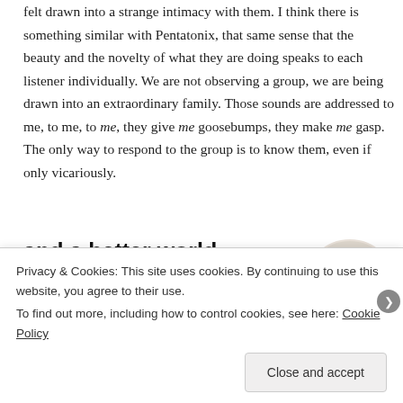felt drawn into a strange intimacy with them. I think there is something similar with Pentatonix, that same sense that the beauty and the novelty of what they are doing speaks to each listener individually. We are not observing a group, we are being drawn into an extraordinary family. Those sounds are addressed to me, to me, to me, they give me goosebumps, they make me gasp. The only way to respond to the group is to know them, even if only vicariously.
[Figure (illustration): Advertisement banner showing 'and a better world.' tagline with an Apply button and a circular photo of a man wearing sunglasses]
Privacy & Cookies: This site uses cookies. By continuing to use this website, you agree to their use.
To find out more, including how to control cookies, see here: Cookie Policy
Close and accept